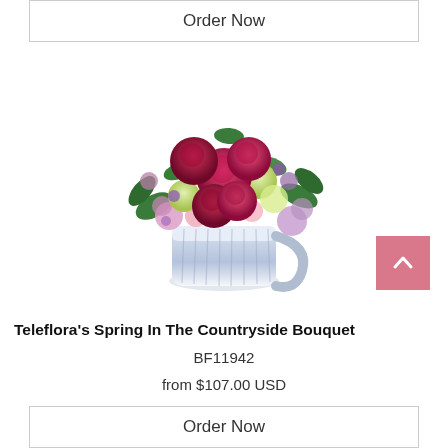Order Now
[Figure (photo): Flower bouquet – Teleflora's Spring In The Countryside Bouquet – red roses, pink and lavender flowers, light green carnations, greenery, arranged in a white and blue ceramic pitcher vase]
Teleflora's Spring In The Countryside Bouquet
BF11942
from $107.00 USD
Order Now